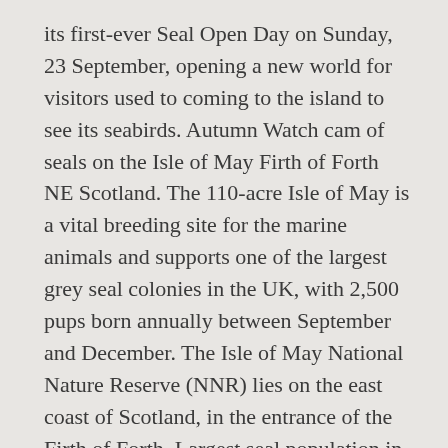its first-ever Seal Open Day on Sunday, 23 September, opening a new world for visitors used to coming to the island to see its seabirds. Autumn Watch cam of seals on the Isle of May Firth of Forth NE Scotland. The 110-acre Isle of May is a vital breeding site for the marine animals and supports one of the largest grey seal colonies in the UK, with 2,500 pups born annually between September and December. The Isle of May National Nature Reserve (NNR) lies on the east coast of Scotland, in the entrance of the Firth of Forth. Largest seal population in Scotland. Sıralama: Edmunds Jansons Yönetmen, Senarist, Kurgucu ve Animasyon. Bookings for the 2021 season will